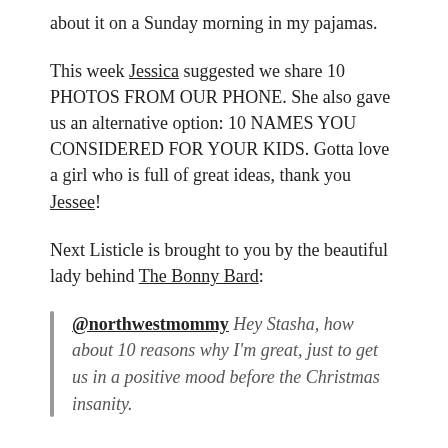about it on a Sunday morning in my pajamas.
This week Jessica suggested we share 10 PHOTOS FROM OUR PHONE. She also gave us an alternative option: 10 NAMES YOU CONSIDERED FOR YOUR KIDS. Gotta love a girl who is full of great ideas, thank you Jessee!
Next Listicle is brought to you by the beautiful lady behind The Bonny Bard:
@northwestmommy Hey Stasha, how about 10 reasons why I'm great, just to get us in a positive mood before the Christmas insanity.